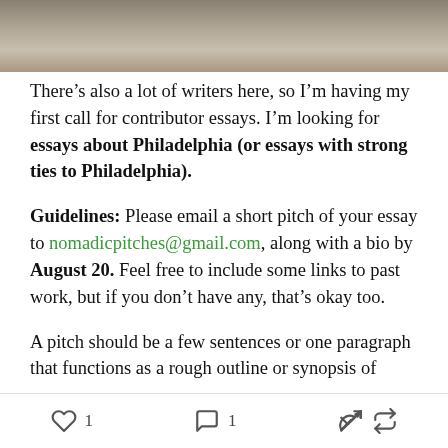[Figure (photo): Bottom portion of a photograph showing a parking lot or street surface with vehicles partially visible]
There’s also a lot of writers here, so I’m having my first call for contributor essays. I’m looking for essays about Philadelphia (or essays with strong ties to Philadelphia).
Guidelines: Please email a short pitch of your essay to nomadicpitches@gmail.com, along with a bio by August 20. Feel free to include some links to past work, but if you don’t have any, that’s okay too.
A pitch should be a few sentences or one paragraph that functions as a rough outline or synopsis of
1  1